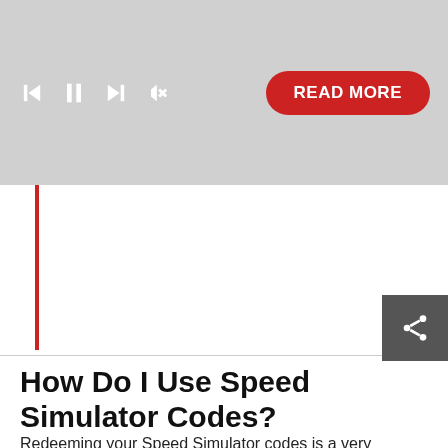[Figure (screenshot): Media player controls bar with skip-back, pause, skip-forward, and mute icons on a gray background, plus a red 'READ MORE' rounded button on the right.]
How Do I Use Speed Simulator Codes?
Redeeming your Speed Simulator codes is a very